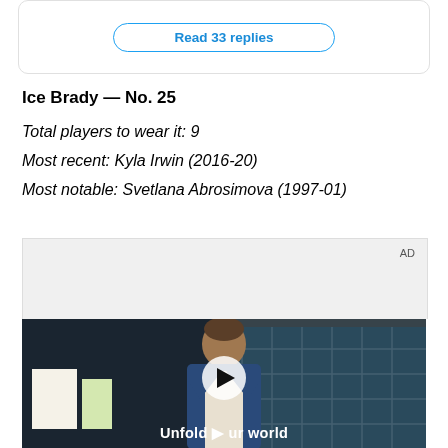Read 33 replies
Ice Brady — No. 25
Total players to wear it: 9
Most recent: Kyla Irwin (2016-20)
Most notable: Svetlana Abrosimova (1997-01)
[Figure (screenshot): AD label with gray background box above a video thumbnail showing a young man in a denim jacket standing in front of a blue-tiled wall, with the text 'Unfold your world' and a play button overlay.]